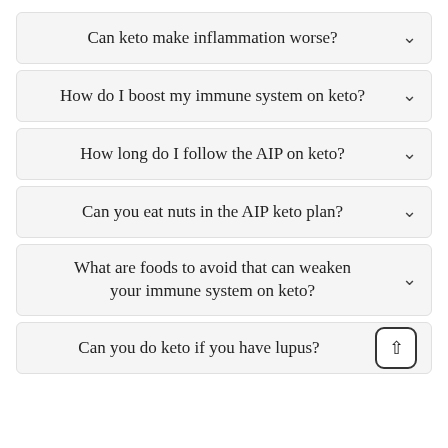Can keto make inflammation worse?
How do I boost my immune system on keto?
How long do I follow the AIP on keto?
Can you eat nuts in the AIP keto plan?
What are foods to avoid that can weaken your immune system on keto?
Can you do keto if you have lupus?